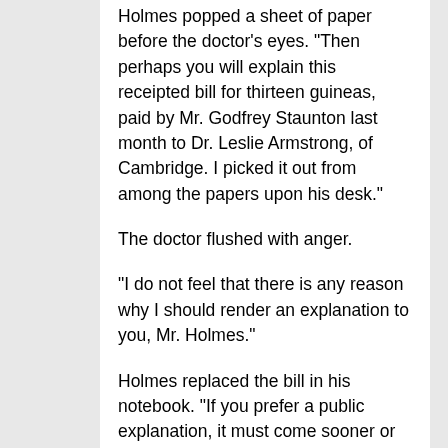Holmes popped a sheet of paper before the doctor's eyes. "Then perhaps you will explain this receipted bill for thirteen guineas, paid by Mr. Godfrey Staunton last month to Dr. Leslie Armstrong, of Cambridge. I picked it out from among the papers upon his desk."
The doctor flushed with anger.
"I do not feel that there is any reason why I should render an explanation to you, Mr. Holmes."
Holmes replaced the bill in his notebook. "If you prefer a public explanation, it must come sooner or later," said he. "I have already told you that I can hush up that which others will be bound to publish, and you would really be wiser to take me into your